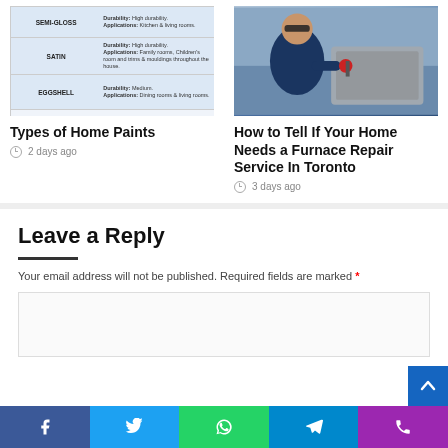[Figure (table-as-image): Table showing paint finish types: SEMI-GLOSS (Durability: High durability. Applications: Kitchen & living rooms.), SATIN (Durability: High durability. Applications: Family rooms, Children's room and trims & mouldings throughout the house.), EGGSHELL (Durability: Medium. Applications: Dining rooms & living rooms.)]
Types of Home Paints
2 days ago
[Figure (photo): A man in a blue shirt working on an outdoor HVAC/furnace unit, holding a tool, with equipment visible in the background.]
How to Tell If Your Home Needs a Furnace Repair Service In Toronto
3 days ago
Leave a Reply
Your email address will not be published. Required fields are marked *